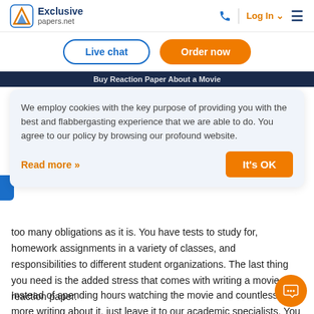[Figure (logo): Exclusive papers.net logo with stylized 'A' icon]
Live chat | Order now
[Figure (screenshot): Dark navy banner with partially visible text 'Buy Reaction Paper About a Movie']
We employ cookies with the key purpose of providing you with the best and flabbergasting experience that we are able to do. You agree to our policy by browsing our profound website.
Read more »
It's OK
too many obligations as it is. You have tests to study for, homework assignments in a variety of classes, and responsibilities to different student organizations. The last thing you need is the added stress that comes with writing a movie reaction paper.
Instead of spending hours watching the movie and countless more writing about it, just leave it to our academic specialists. You will receive a highly polished reaction paper that meets all